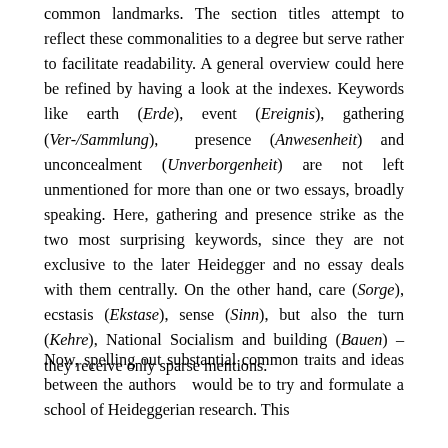common landmarks. The section titles attempt to reflect these commonalities to a degree but serve rather to facilitate readability. A general overview could here be refined by having a look at the indexes. Keywords like earth (Erde), event (Ereignis), gathering (Ver-/Sammlung), presence (Anwesenheit) and unconcealment (Unverborgenheit) are not left unmentioned for more than one or two essays, broadly speaking. Here, gathering and presence strike as the two most surprising keywords, since they are not exclusive to the later Heidegger and no essay deals with them centrally. On the other hand, care (Sorge), ecstasis (Ekstase), sense (Sinn), but also the turn (Kehre), National Socialism and building (Bauen) – they receive only sparse mentions.
Now, spelling out substantial common traits and ideas between the authors  would be to try and formulate a school of Heideggerian research. This